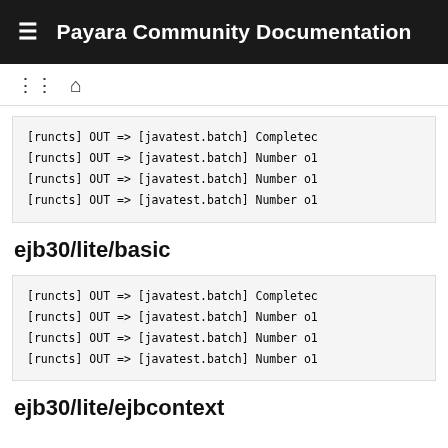≡  Payara Community Documentation
≔ ⌂
[runcts] OUT => [javatest.batch] Completed
[runcts] OUT => [javatest.batch] Number o
[runcts] OUT => [javatest.batch] Number o
[runcts] OUT => [javatest.batch] Number o
ejb30/lite/basic
[runcts] OUT => [javatest.batch] Completed
[runcts] OUT => [javatest.batch] Number o
[runcts] OUT => [javatest.batch] Number o
[runcts] OUT => [javatest.batch] Number o
ejb30/lite/ejbcontext